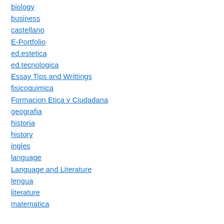biology
business
castellano
E-Portfolio
ed.estetica
ed.tecnologica
Essay Tips and Writtings
fisicoquimica
Formacion Etica y Ciudadana
geografia
historia
history
ingles
language
Language and Literature
lengua
literature
matematica